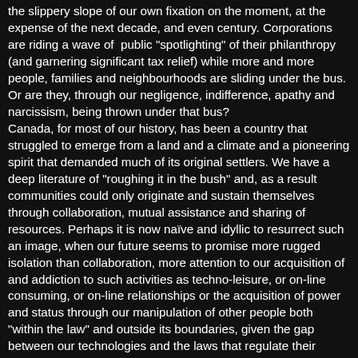the slippery slope of our own fixation on the moment, at the expense of the next decade, and even century. Corporations are riding a wave of  public "spotlighting" of their philanthropy (and garnering significant tax relief) while more and more people, families and neighbourhoods are sliding under the bus. Or are they, through our negligence, indifference, apathy and narcissism, being thrown under that bus? Canada, for most of our history, has been a country that struggled to emerge from a land and a climate and a pioneering spirit that demanded much of its original settlers. We have a deep literature of "roughing it in the bush" and, as a result communities could only originate and sustain themselves through collaboration, mutual assistance and sharing of resources. Perhaps it is now naïve and idyllic to resurrect such an image, when our future seems to promise more rugged isolation than collaboration, more attention to our acquisition of and addiction to such activities as techno-leisure, or on-line consuming, or on-line relationships or the acquisition of power and status through our manipulation of other people both "within the law" and outside its boundaries, given the gap between our technologies and the laws that regulate their deployment.